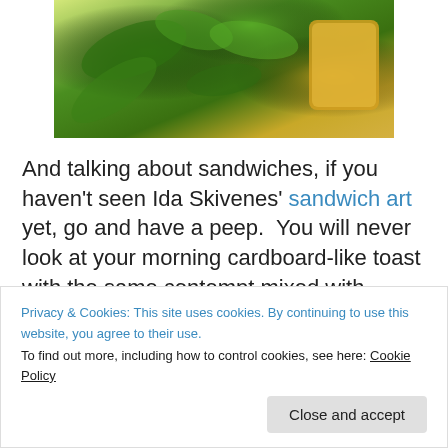[Figure (photo): Close-up photo of a food dish with green leafy herbs/vegetables and what appears to be a piece of toast or bread with yellow/golden coloring]
And talking about sandwiches, if you haven't seen Ida Skivenes' sandwich art yet, go and have a peep.  You will never look at your morning cardboard-like toast with the same contempt mixed with hunger.
[Figure (screenshot): Dark banner with a teal 'Learn More' button]
Privacy & Cookies: This site uses cookies. By continuing to use this website, you agree to their use.
To find out more, including how to control cookies, see here: Cookie Policy
Close and accept